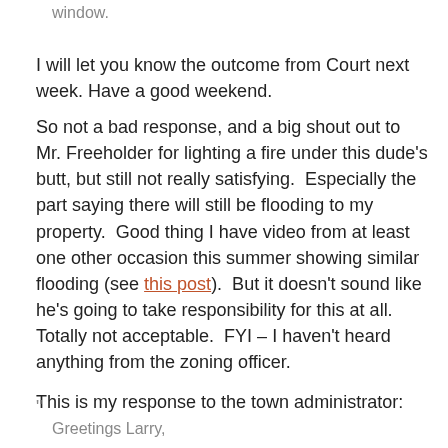window.
I will let you know the outcome from Court next week. Have a good weekend.
So not a bad response, and a big shout out to Mr. Freeholder for lighting a fire under this dude's butt, but still not really satisfying.  Especially the part saying there will still be flooding to my property.  Good thing I have video from at least one other occasion this summer showing similar flooding (see this post).  But it doesn't sound like he's going to take responsibility for this at all.  Totally not acceptable.  FYI – I haven't heard anything from the zoning officer.
This is my response to the town administrator:
" Greetings Larry,